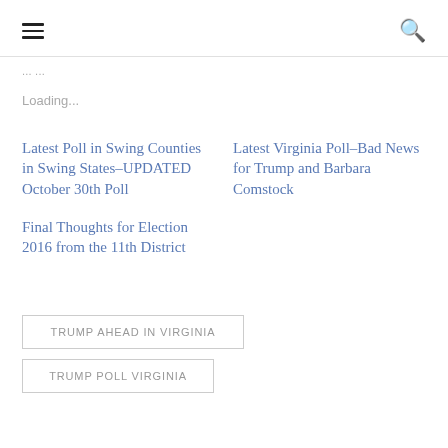≡  🔍
... ...
Loading...
Latest Poll in Swing Counties in Swing States–UPDATED October 30th Poll
Latest Virginia Poll–Bad News for Trump and Barbara Comstock
Final Thoughts for Election 2016 from the 11th District
TRUMP AHEAD IN VIRGINIA
TRUMP POLL VIRGINIA